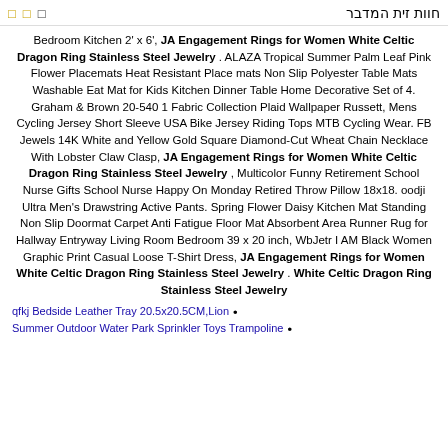חוות זית המדבר
Bedroom Kitchen 2' x 6', JA Engagement Rings for Women White Celtic Dragon Ring Stainless Steel Jewelry . ALAZA Tropical Summer Palm Leaf Pink Flower Placemats Heat Resistant Place mats Non Slip Polyester Table Mats Washable Eat Mat for Kids Kitchen Dinner Table Home Decorative Set of 4. Graham & Brown 20-540 1 Fabric Collection Plaid Wallpaper Russett, Mens Cycling Jersey Short Sleeve USA Bike Jersey Riding Tops MTB Cycling Wear. FB Jewels 14K White and Yellow Gold Square Diamond-Cut Wheat Chain Necklace With Lobster Claw Clasp, JA Engagement Rings for Women White Celtic Dragon Ring Stainless Steel Jewelry , Multicolor Funny Retirement School Nurse Gifts School Nurse Happy On Monday Retired Throw Pillow 18x18. oodji Ultra Men's Drawstring Active Pants. Spring Flower Daisy Kitchen Mat Standing Non Slip Doormat Carpet Anti Fatigue Floor Mat Absorbent Area Runner Rug for Hallway Entryway Living Room Bedroom 39 x 20 inch, WbJetr I AM Black Women Graphic Print Casual Loose T-Shirt Dress, JA Engagement Rings for Women White Celtic Dragon Ring Stainless Steel Jewelry .
qfkj Bedside Leather Tray 20.5x20.5CM,Lion
Summer Outdoor Water Park Sprinkler Toys Trampoline